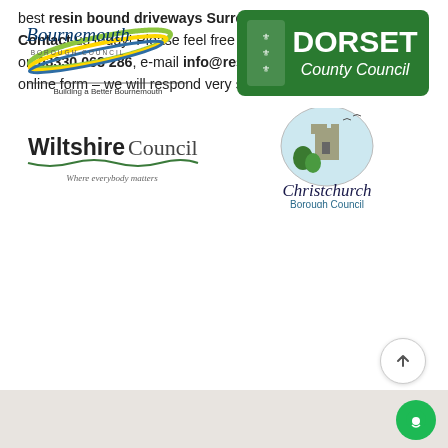best resin bound driveways Surrey visitors are going to envy? Contact us today! Please feel free to either give us a call directly on 03330 068 286, e-mail info@resinwize.uk or fill in our simple online form – we will respond very shortly.
[Figure (logo): Bournemouth Borough Council logo with swoosh graphic and tagline 'Building a Better Bournemouth']
[Figure (logo): Dorset County Council logo – green rounded rectangle badge with coat of arms and white text]
[Figure (logo): Wiltshire Council logo with wavy underline and tagline 'Where everybody matters']
[Figure (logo): Christchurch Borough Council logo with circular vignette of church/castle tower illustration]